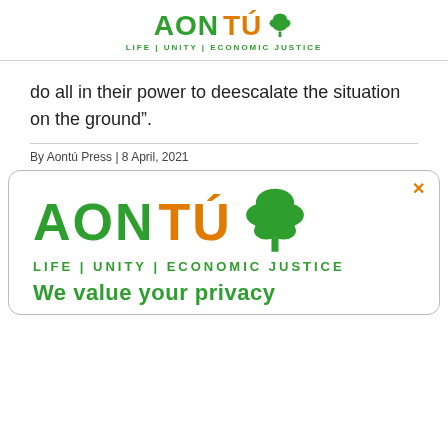AONTÚ — LIFE | UNITY | ECONOMIC JUSTICE
do all in their power to deescalate the situation on the ground”.
By Aontú Press | 8 April, 2021
[Figure (logo): Aontú logo with tree icon and tagline LIFE | UNITY | ECONOMIC JUSTICE, inside a rounded cookie consent box with an orange × close button and partial 'We value your privacy' heading below]